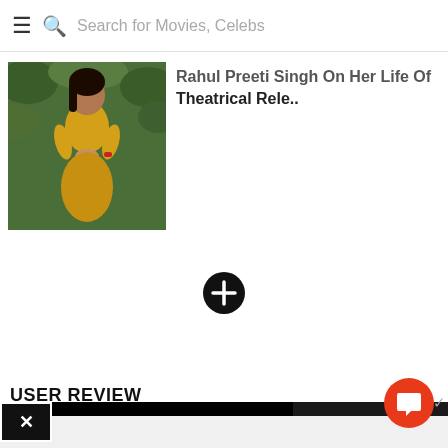Search for Movies, Celebs
[Figure (photo): Thumbnail image of a woman in yellow/orange outfit standing outdoors against green foliage background]
Rahul Preeti Singh On Her Life Of Theatrical Rele..
[Figure (other): Black circular plus/add button]
USER REVIEW
[Figure (screenshot): Black video/ad overlay panel with close X button in top-left corner]
[Figure (screenshot): Black panel on right side of screen]
[Figure (other): Orange circular chat/comment FAB button in bottom right]